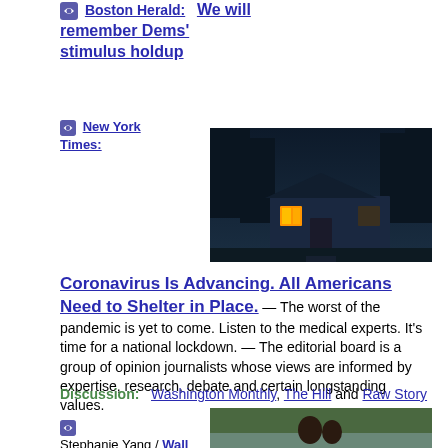Boston Herald: We will remember Dems' stimulus holdup
New York Times:
[Figure (photo): Dark exterior photo of a house at night with warm light glowing through windows, surrounded by trees]
Coronavirus Is Advancing. All Americans Need to Shelter in Place. — The worst of the pandemic is yet to come. Listen to the medical experts. It's time for a national lockdown. — The editorial board is a group of opinion journalists whose views are informed by expertise, research, debate and certain longstanding values.
Discussion: Washington Monthly, The Hill and Raw Story
Stephanie Yang / Wall Street Journal:
[Figure (photo): Photo of a couple outdoors near a body of water with trees in the background]